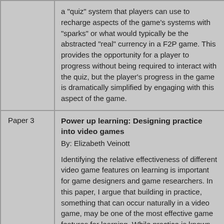|  |  |
| --- | --- |
|  | a "quiz" system that players can use to recharge aspects of the game's systems with "sparks" or what would typically be the abstracted "real" currency in a F2P game. This provides the opportunity for a player to progress without being required to interact with the quiz, but the player's progress in the game is dramatically simplified by engaging with this aspect of the game. |
| Paper 3 | Power up learning: Designing practice into video games
By: Elizabeth Veinott

Identifying the relative effectiveness of different video game features on learning is important for game designers and game researchers. In this paper, I argue that building in practice, something that can occur naturally in a video game, may be one of the most effective game features for learning. While practice is known to be important, very little discussion exists regarding how to implement |